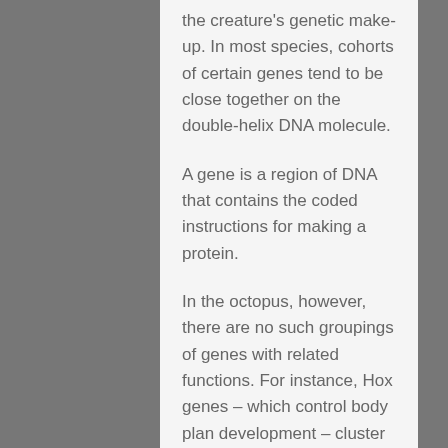the creature's genetic make-up. In most species, cohorts of certain genes tend to be close together on the double-helix DNA molecule.
A gene is a region of DNA that contains the coded instructions for making a protein.
In the octopus, however, there are no such groupings of genes with related functions. For instance, Hox genes – which control body plan development – cluster together in almost all animals but are scattered throughout the octopus genome.
It was as if the octopus genome had been